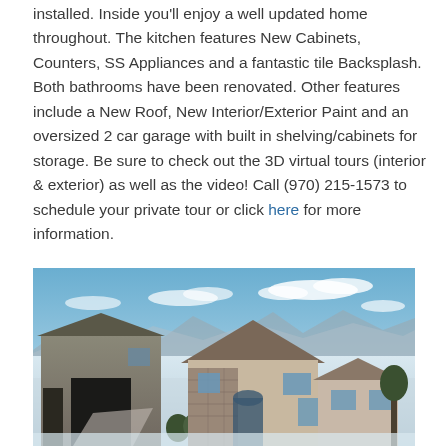installed. Inside you'll enjoy a well updated home throughout. The kitchen features New Cabinets, Counters, SS Appliances and a fantastic tile Backsplash. Both bathrooms have been renovated. Other features include a New Roof, New Interior/Exterior Paint and an oversized 2 car garage with built in shelving/cabinets for storage. Be sure to check out the 3D virtual tours (interior & exterior) as well as the video! Call (970) 215-1573 to schedule your private tour or click here for more information.
[Figure (photo): Exterior photo of a single-story home with stone facade and attached large garage/outbuilding, set against a snowy landscape with blue sky and mountains in the background.]